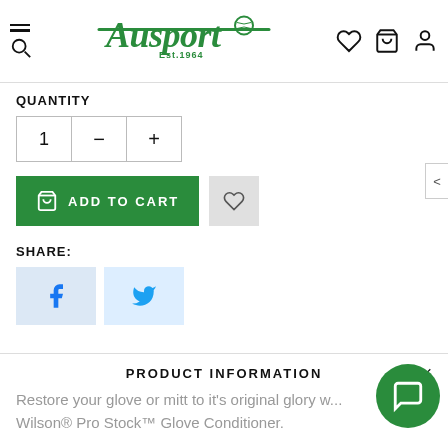Ausport Est.1964
QUANTITY
1 - +
ADD TO CART
SHARE:
[Figure (screenshot): Facebook share button (blue F icon)]
[Figure (screenshot): Twitter share button (blue bird icon)]
PRODUCT INFORMATION
Restore your glove or mitt to it's original glory w... Wilson® Pro Stock™ Glove Conditioner.